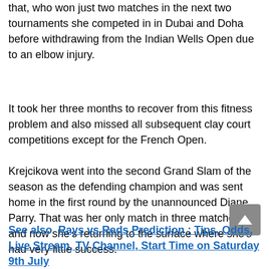that, who won just two matches in the next two tournaments she competed in in Dubai and Doha before withdrawing from the Indian Wells Open due to an elbow injury.
It took her three months to recover from this fitness problem and also missed all subsequent clay court competitions except for the French Open.
Krejcikova went into the second Grand Slam of the season as the defending champion and was sent home in the first round by the unannounced Diane Parry. That was her only match in three matches and now she's returning to the surface where she's had very little success.
See also  Rays vs Reds Prediction : Tips, Odds, Live Stream, TV Channel, Start Time on Saturday 9th July